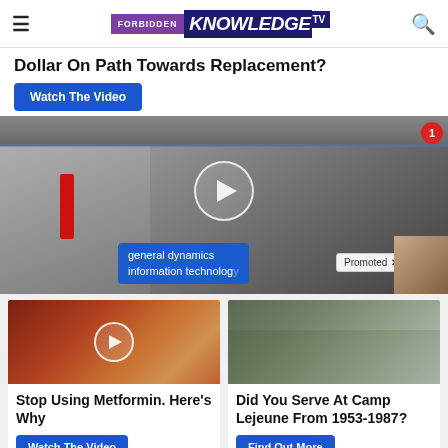FORBIDDEN KNOWLEDGE TV
Dollar On Path Towards Replacement?
Watch The Video
[Figure (photo): Two men in suits outdoors, one with arm raised, overlaid with ad banner reading 'general dynamics information technology' and a 'Promoted' badge]
[Figure (photo): Close-up of teeth/dental with play button overlay - Stop Using Metformin article thumbnail]
Stop Using Metformin. Here's Why
Watch The Video
[Figure (photo): Military soldiers on a watercraft - Did You Serve At Camp Lejeune article thumbnail]
Did You Serve At Camp Lejeune From 1953-1987?
Find Out More